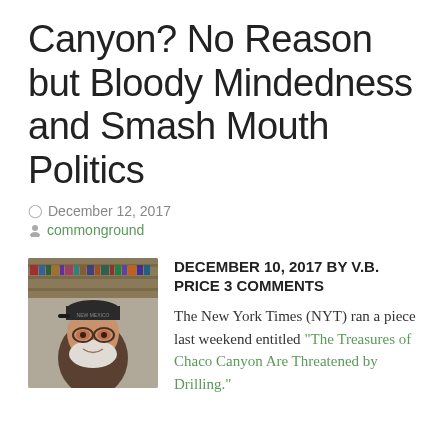Canyon? No Reason but Bloody Mindedness and Smash Mouth Politics
December 12, 2017
commonground
[Figure (photo): Headshot of an older man with white beard wearing a dark cap with 'New Mexico' text, in front of bookshelves]
DECEMBER 10, 2017 By V.B. PRICE 3 COMMENTS
The New York Times (NYT) ran a piece last weekend entitled "The Treasures of Chaco Canyon Are Threatened by Drilling."